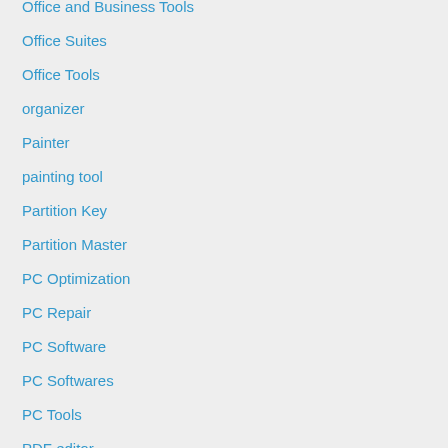Office and Business Tools
Office Suites
Office Tools
organizer
Painter
painting tool
Partition Key
Partition Master
PC Optimization
PC Repair
PC Software
PC Softwares
PC Tools
PDF editor
PDF software